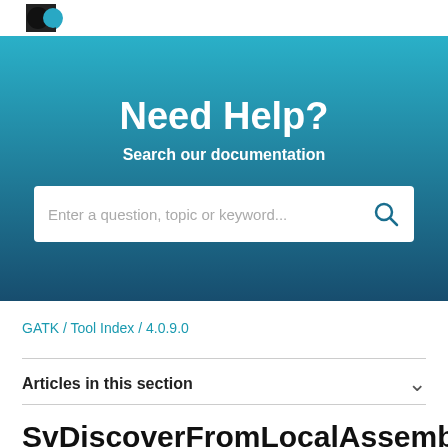[Figure (logo): Partial logo visible at top left of page]
Need Help?
Search our documentation
Enter a question, topic or keyword...
GATK / Tool Index / 4.0.9.0
Articles in this section
SvDiscoverFromLocalAssemblyCo